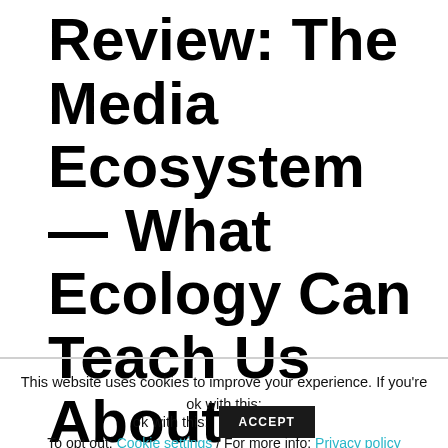Review: The Media Ecosystem — What Ecology Can Teach Us About Responsible Media Practice
This website uses cookies to improve your experience. If you're ok with this: [ACCEPT] To opt out: Cookie settings / For more info: Privacy policy